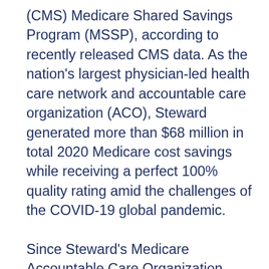(CMS) Medicare Shared Savings Program (MSSP), according to recently released CMS data. As the nation's largest physician-led health care network and accountable care organization (ACO), Steward generated more than $68 million in total 2020 Medicare cost savings while receiving a perfect 100% quality rating amid the challenges of the COVID-19 global pandemic.
Since Steward's Medicare Accountable Care Organization launched in 2012, it has grown into the largest in the country, with more than 161,000 program beneficiaries, while maintaining a multi-year track record of success in delivering high quality clinical outcomes and generating consistent savings.